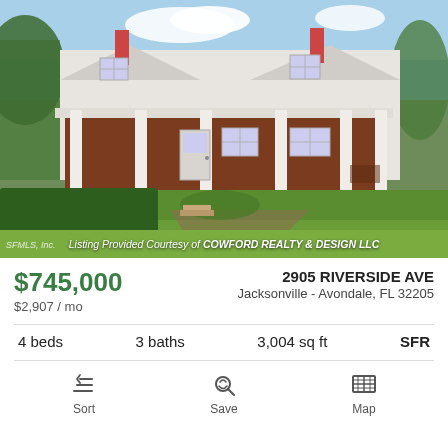[Figure (photo): Exterior photo of a two-story white colonial-style house with dark wood siding on the lower level, large white columns, covered porch, and lush green lawn with hedges.]
Listing Provided Courtesy of COWFORD REALTY & DESIGN LLC
$745,000
$2,907 / mo
2905 RIVERSIDE AVE
Jacksonville - Avondale, FL 32205
4 beds   3 baths   3,004 sq ft   SFR
Sort
Save
Map